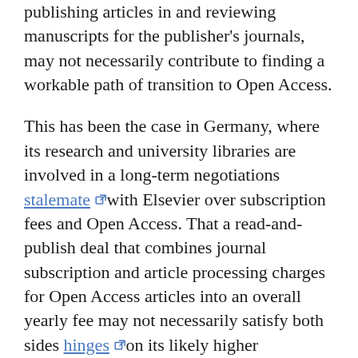publishing articles in and reviewing manuscripts for the publisher's journals, may not necessarily contribute to finding a workable path of transition to Open Access.
This has been the case in Germany, where its research and university libraries are involved in a long-term negotiations stalemate [external link] with Elsevier over subscription fees and Open Access. That a read-and-publish deal that combines journal subscription and article processing charges for Open Access articles into an overall yearly fee may not necessarily satisfy both sides hinges [external link] on its likely higher associated financial costs than for a traditional journal subscription contract, as the negotiations between the University of California and Elsevier demonstrate.